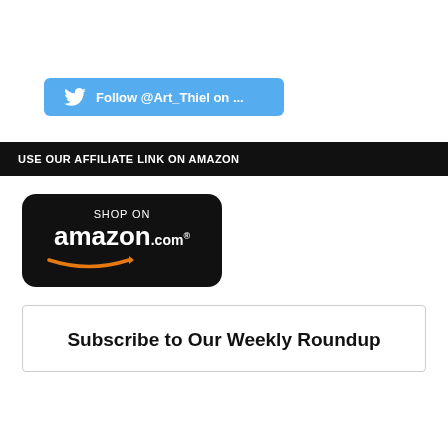[Figure (other): Twitter Follow button with bird icon reading 'Follow @Art_Thiel on ...' on a light blue background]
USE OUR AFFILIATE LINK ON AMAZON
[Figure (logo): Amazon.com 'Shop on amazon.com' button with black rounded rectangle background and orange smile arrow]
Subscribe to Our Weekly Roundup